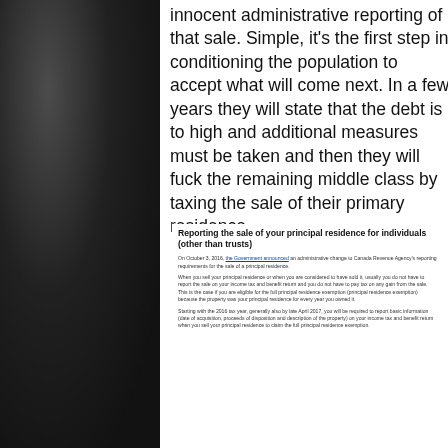innocent administrative reporting of that sale. Simple, it's the first step in conditioning the population to accept what will come next. In a few years they will state that the debt is to high and additional measures must be taken and then they will fuck the remaining middle class by taxing the sale of their primary residence.
Reporting the sale of your principal residence for individuals (other than trusts)
On October 3, 2016, the Government announced an administrative change to Canada Revenue Agency's reporting requirements for the sale of a principal residence.
When you sell your principal residence or when you are considered to have sold it, usually you do not have to report the sale on your income tax and benefit return and you do not have to pay tax on any gain from the sale. This is the case if you are eligible for the full principal residence exemption (principal residence exemption) because the property was your principal residence for every year you owned it.
Starting with the 2016 tax year, generally also by late April 2017, you will be required to report basic information (date of acquisition, proceeds of disposition and description of the property) on your income tax and benefit return when you sell your principal residence to claim the full principal residence exemption.